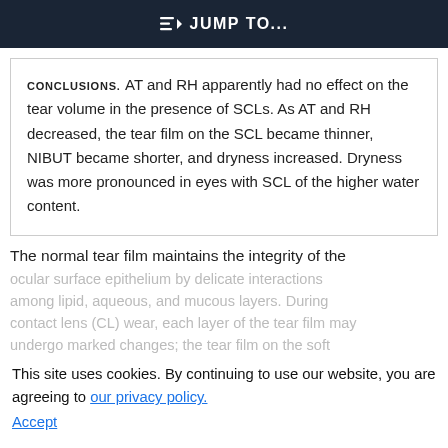JUMP TO...
CONCLUSIONS. AT and RH apparently had no effect on the tear volume in the presence of SCLs. As AT and RH decreased, the tear film on the SCL became thinner, NIBUT became shorter, and dryness increased. Dryness was more pronounced in eyes with SCL of the higher water content.
The normal tear film maintains the integrity of the
ocular surface epithelium by delicate interactions among lipid, aqueous, and mucous layers. During contact lens (CL) wear, each layer of the tear film may undergo marked changes; the tear film on the soft
This site uses cookies. By continuing to use our website, you are agreeing to our privacy policy. Accept